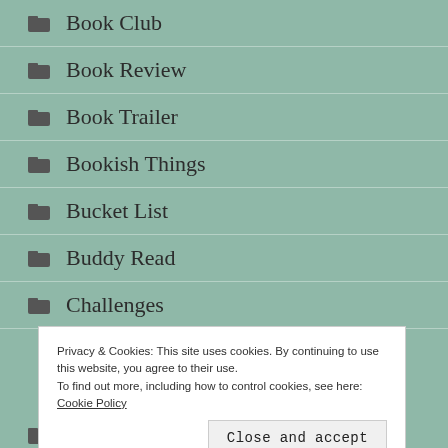Book Club
Book Review
Book Trailer
Bookish Things
Bucket List
Buddy Read
Challenges
Privacy & Cookies: This site uses cookies. By continuing to use this website, you agree to their use.
To find out more, including how to control cookies, see here: Cookie Policy
Commercial Fiction